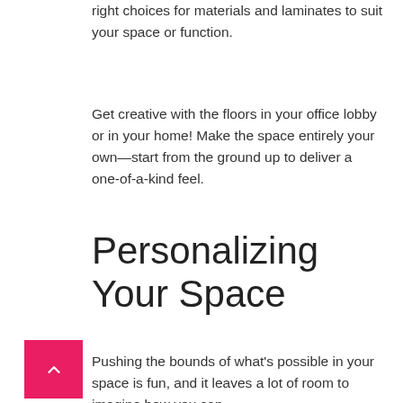right choices for materials and laminates to suit your space or function.
Get creative with the floors in your office lobby or in your home! Make the space entirely your own—start from the ground up to deliver a one-of-a-kind feel.
Personalizing Your Space
Pushing the bounds of what's possible in your space is fun, and it leaves a lot of room to imagine how you can